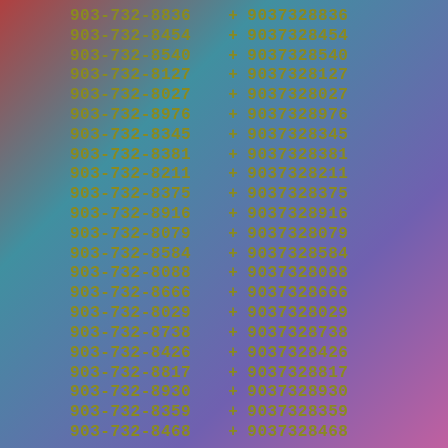903-732-8836 + 9037328836
903-732-8454 + 9037328454
903-732-8540 + 9037328540
903-732-8127 + 9037328127
903-732-8027 + 9037328027
903-732-8976 + 9037328976
903-732-8345 + 9037328345
903-732-8381 + 9037328381
903-732-8211 + 9037328211
903-732-8375 + 9037328375
903-732-8916 + 9037328916
903-732-8079 + 9037328079
903-732-8584 + 9037328584
903-732-8088 + 9037328088
903-732-8666 + 9037328666
903-732-8029 + 9037328029
903-732-8738 + 9037328738
903-732-8426 + 9037328426
903-732-8817 + 9037328817
903-732-8930 + 9037328930
903-732-8359 + 9037328359
903-732-8468 + 9037328468